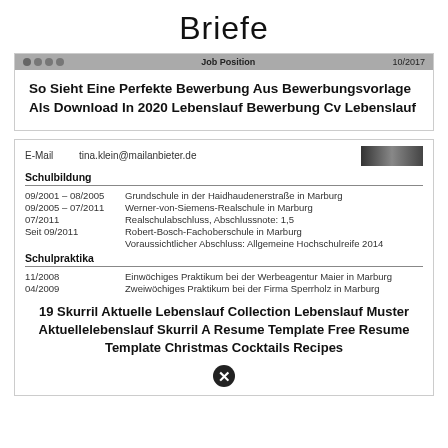Briefe
[Figure (screenshot): Card showing a CV/resume header bar with dots and 'Job Position' label and date '10/2017', followed by bold text: 'So Sieht Eine Perfekte Bewerbung Aus Bewerbungsvorlage Als Download In 2020 Lebenslauf Bewerbung Cv Lebenslauf']
[Figure (screenshot): CV document card showing E-Mail: tina.klein@mailanbieter.de, Schulbildung section with dates 09/2001-08/2005, 09/2005-07/2011, 07/2011, Seit 09/2011, Schulpraktika section with 11/2008 and 04/2009 entries, followed by caption text about Lebenslauf Muster and close button]
19 Skurril Aktuelle Lebenslauf Collection Lebenslauf Muster Aktuellelebenslauf Skurril A Resume Template Free Resume Template Christmas Cocktails Recipes